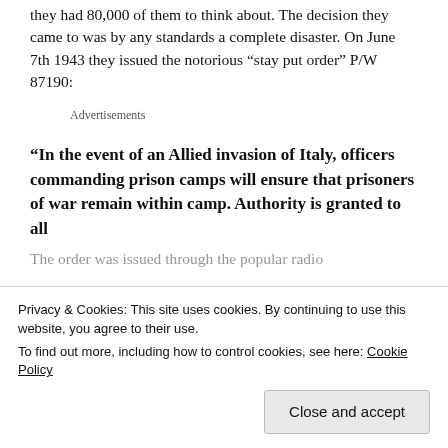they had 80,000 of them to think about. The decision they came to was by any standards a complete disaster. On June 7th 1943 they issued the notorious “stay put order” P/W 87190:
Advertisements
“In the event of an Allied invasion of Italy, officers commanding prison camps will ensure that prisoners of war remain within camp. Authority is granted to all
Privacy & Cookies: This site uses cookies. By continuing to use this website, you agree to their use. To find out more, including how to control cookies, see here: Cookie Policy
The order was issued through the popular radio